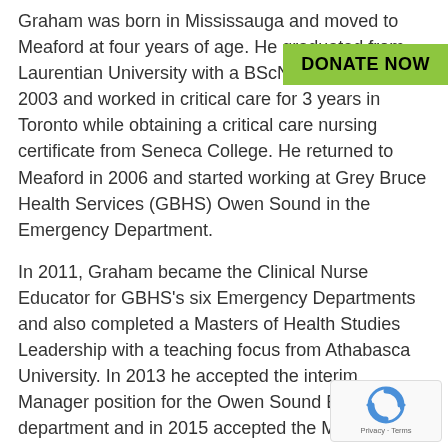Graham was born in Mississauga and moved to Meaford at four years of age. He graduated from Laurentian University with a BScN in nursing in 2003 and worked in critical care for 3 years in Toronto while obtaining a critical care nursing certificate from Seneca College. He returned to Meaford in 2006 and started working at Grey Bruce Health Services (GBHS) Owen Sound in the Emergency Department.
In 2011, Graham became the Clinical Nurse Educator for GBHS's six Emergency Departments and also completed a Masters of Health Studies Leadership with a teaching focus from Athabasca University. In 2013 he accepted the interim Manager position for the Owen Sound Emergency department and in 2015 accepted the Manager position for the Owen Sound Emergency and Dialysis departments.
[Figure (other): Green 'DONATE NOW' button overlay in upper right area]
[Figure (other): reCAPTCHA badge with circular arrow logo and 'Privacy - Terms' text in lower right corner]